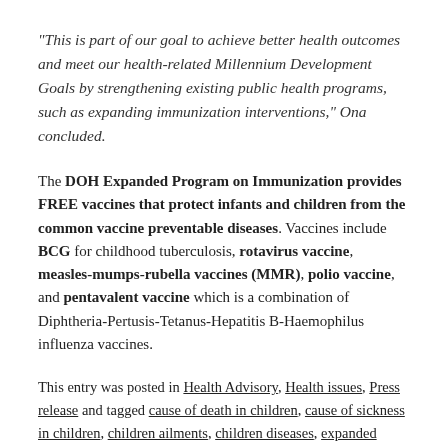“This is part of our goal to achieve better health outcomes and meet our health-related Millennium Development Goals by strengthening existing public health programs, such as expanding immunization interventions,” Ona concluded.
The DOH Expanded Program on Immunization provides FREE vaccines that protect infants and children from the common vaccine preventable diseases. Vaccines include BCG for childhood tuberculosis, rotavirus vaccine, measles-mumps-rubella vaccines (MMR), polio vaccine, and pentavalent vaccine which is a combination of Diphtheria-Pertusis-Tetanus-Hepatitis B-Haemophilus influenza vaccines.
This entry was posted in Health Advisory, Health issues, Press release and tagged cause of death in children, cause of sickness in children, children ailments, children diseases, expanded program on immunization, free pneumonia vaccines, free